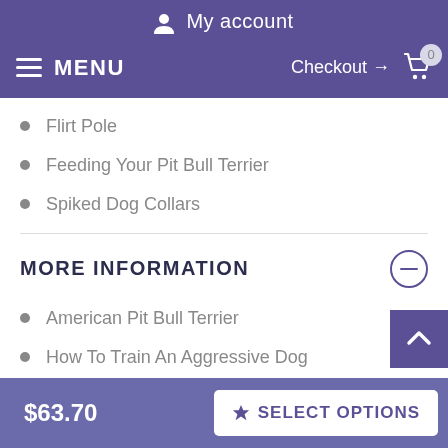My account
MENU  Checkout → 0
Flirt Pole
Feeding Your Pit Bull Terrier
Spiked Dog Collars
MORE INFORMATION
American Pit Bull Terrier
How To Train An Aggressive Dog
Deliver our products anywhere
$63.70   SELECT OPTIONS